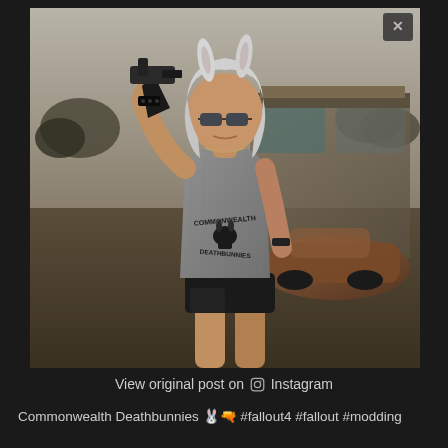[Figure (screenshot): A 3D rendered video game character (Fallout 4 mod) — a woman with white/silver hair wearing bunny ears, sunglasses, a gray sleeveless tank top reading 'Commonwealth Deathbunnies' with a skull-bunny logo, black shorts, and fingerless gloves. She is holding up a pistol. The background shows a post-apocalyptic scene with a rusted vintage car and a dilapidated building.]
View original post on Instagram
Commonwealth Deathbunnies 🐰🔫 #fallout4 #fallout #modding